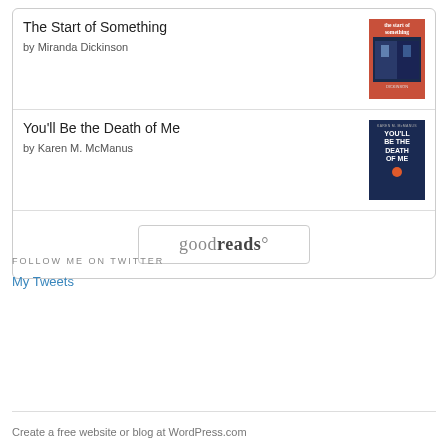The Start of Something
by Miranda Dickinson
You'll Be the Death of Me
by Karen M. McManus
[Figure (logo): Goodreads logo button with rounded rectangle border]
FOLLOW ME ON TWITTER
My Tweets
Create a free website or blog at WordPress.com